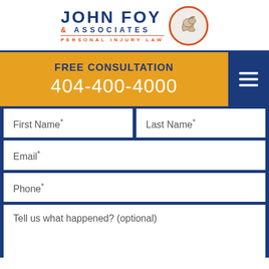[Figure (logo): John Foy & Associates Personal Injury Law logo with flexing arm in orange circle]
FREE CONSULTATION
404-400-4000
First Name*
Last Name*
Email*
Phone*
Tell us what happened? (optional)